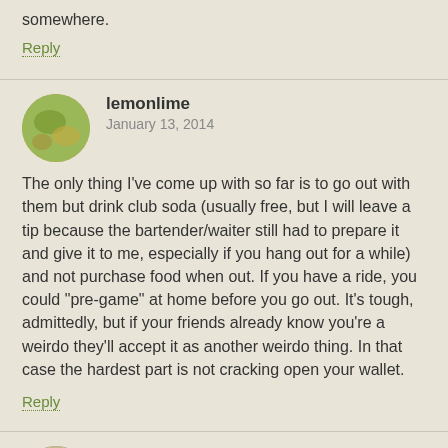somewhere.
Reply
lemonlime
January 13, 2014
The only thing I've come up with so far is to go out with them but drink club soda (usually free, but I will leave a tip because the bartender/waiter still had to prepare it and give it to me, especially if you hang out for a while) and not purchase food when out. If you have a ride, you could "pre-game" at home before you go out. It's tough, admittedly, but if your friends already know you're a weirdo they'll accept it as another weirdo thing. In that case the hardest part is not cracking open your wallet.
Reply
Miss Growing Green
January 13, 2014
This is an issue for us, too. We don't eat out much (once or twice a month) but about 50% of that is "obligatory" eating out with friends / colleagues that